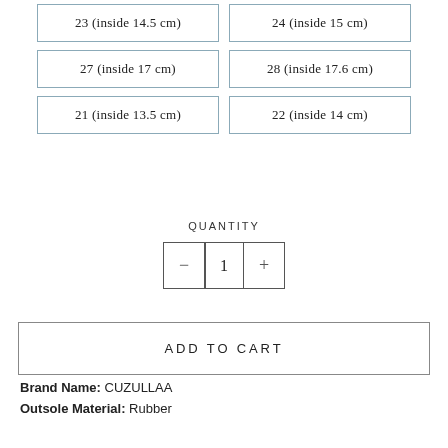| 23 (inside 14.5 cm) | 24 (inside 15 cm) |
| 27 (inside 17 cm) | 28 (inside 17.6 cm) |
| 21 (inside 13.5 cm) | 22 (inside 14 cm) |
QUANTITY
- 1 +
ADD TO CART
Brand Name: CUZULLAA
Outsole Material: Rubber